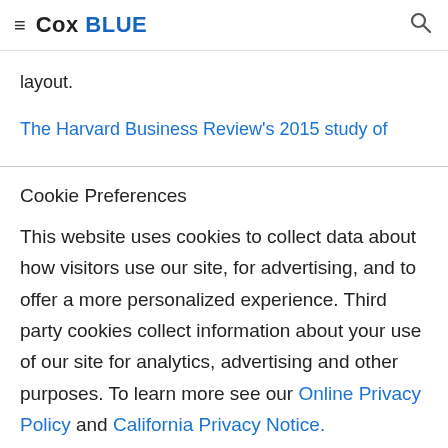≡ Cox BLUE 🔍
layout.
The Harvard Business Review's 2015 study of
Cookie Preferences
This website uses cookies to collect data about how visitors use our site, for advertising, and to offer a more personalized experience. Third party cookies collect information about your use of our site for analytics, advertising and other purposes. To learn more see our Online Privacy Policy and California Privacy Notice.